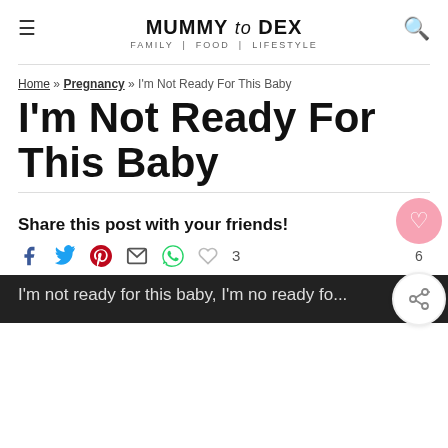MUMMY to DEX — FAMILY | FOOD | LIFESTYLE
Home » Pregnancy » I'm Not Ready For This Baby
I'm Not Ready For This Baby
Share this post with your friends!
6
3
I'm not ready for this baby, I'm no ready fo...